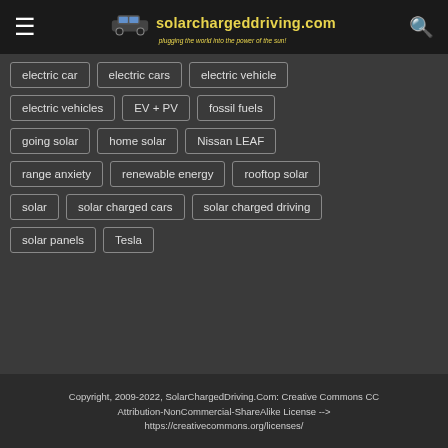solarchargeddriving.com — plugging the world into the power of the sun!
electric car
electric cars
electric vehicle
electric vehicles
EV + PV
fossil fuels
going solar
home solar
Nissan LEAF
range anxiety
renewable energy
rooftop solar
solar
solar charged cars
solar charged driving
solar panels
Tesla
Copyright, 2009-2022, SolarChargedDriving.Com: Creative Commons CC Attribution-NonCommercial-ShareAlike License --> https://creativecommons.org/licenses/